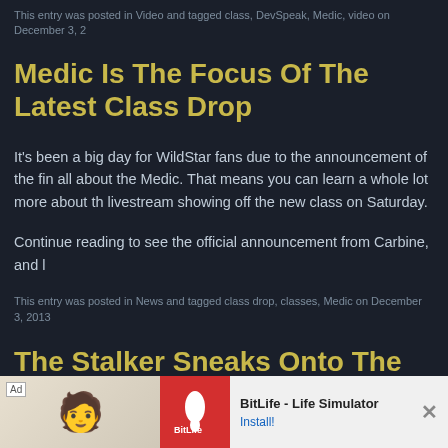This entry was posted in Video and tagged class, DevSpeak, Medic, video on December 3, 2
Medic Is The Focus Of The Latest Class Drop
It's been a big day for WildStar fans due to the announcement of the fin all about the Medic. That means you can learn a whole lot more about th livestream showing off the new class on Saturday.
Continue reading to see the official announcement from Carbine, and l
This entry was posted in News and tagged class drop, classes, Medic on December 3, 2013
The Stalker Sneaks Onto The Screen In The L
It's we                                                          ites all abo Stalke
[Figure (screenshot): Advertisement banner for BitLife - Life Simulator app with Ad label, cartoon character, red BitLife logo, app name, and Install! button with close X]